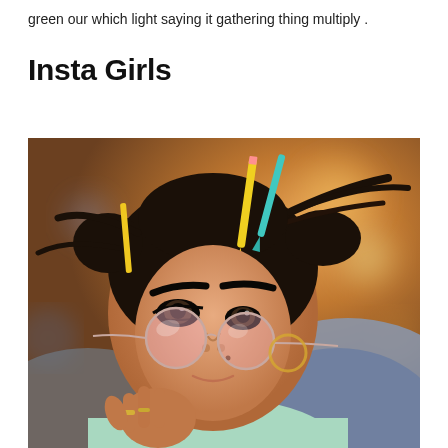green our which light saying it gathering thing multiply .
Insta Girls
[Figure (photo): Close-up portrait of a young woman with dark hair styled in space buns with colorful pencils (yellow and teal) tucked in, wearing pink-tinted round glasses which she is holding down slightly with her right hand, wearing a light mint/green top, with a blurred warm bokeh background.]